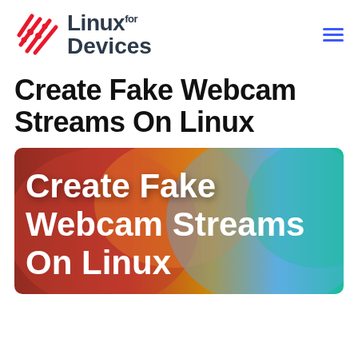[Figure (logo): Linux for Devices logo with red diagonal lines icon and dark text]
Create Fake Webcam Streams On Linux
[Figure (illustration): Hero banner image with colorful gradient background (red, orange, teal) and white bold text reading 'Create Fake Webcam Streams On Linux']